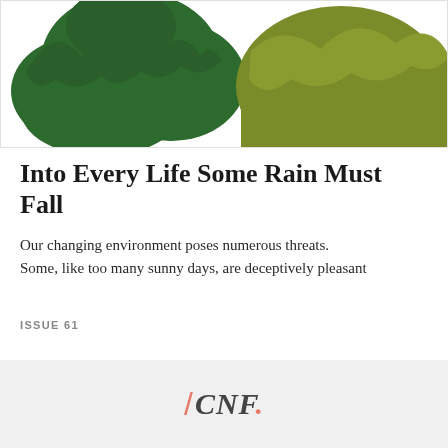[Figure (illustration): Decorative illustration of green foliage/leaf clusters in dark green and olive green colors against a white background, partially cropped at bottom]
Into Every Life Some Rain Must Fall
Our changing environment poses numerous threats. Some, like too many sunny days, are deceptively pleasant
ISSUE 61
[Figure (logo): /CNF. logo in italic serif font with a pink/salmon slash and dot on a light gray background]